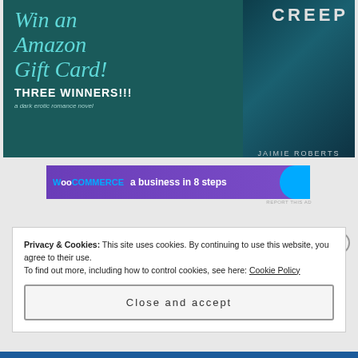[Figure (illustration): Promotional banner for a book giveaway. Dark teal background with italic cyan text 'Win an Amazon Gift Card!' in large serif font, 'THREE WINNERS!!!' in bold white caps, 'a dark erotic romance novel' in italic. A tablet/book cover showing 'CREEP' by Jaimie Roberts is displayed on the right with a woman silhouette.]
[Figure (screenshot): WooCommerce advertisement banner with purple gradient background. Logo text 'WooCommerce' with tagline 'a business in 8 steps' and a blue circle graphic on the right. 'REPORT THIS AD' text in small gray text below.]
Privacy & Cookies: This site uses cookies. By continuing to use this website, you agree to their use.
To find out more, including how to control cookies, see here: Cookie Policy
Close and accept